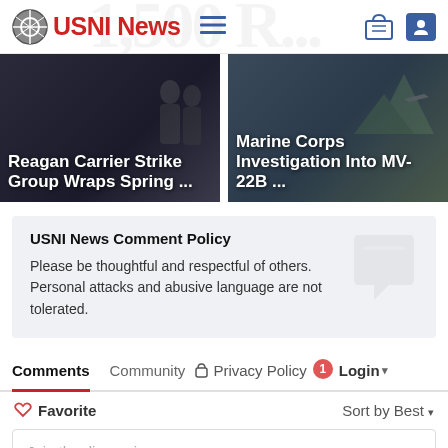USNI News
[Figure (screenshot): News article card: Reagan Carrier Strike Group Wraps Spring ...]
[Figure (screenshot): News article card: Marine Corps Investigation Into MV-22B ...]
USNI News Comment Policy
Please be thoughtful and respectful of others. Personal attacks and abusive language are not tolerated.
Comments   Community   Privacy Policy   1   Login
Favorite   Sort by Best
Join the discussion...